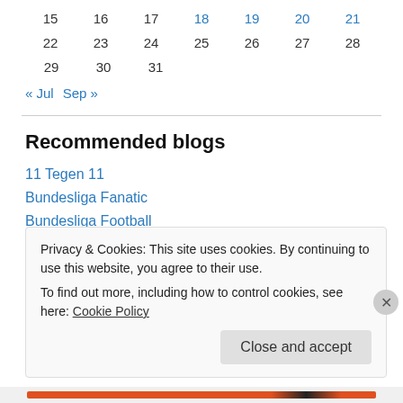| 15 | 16 | 17 | 18 | 19 | 20 | 21 |
| 22 | 23 | 24 | 25 | 26 | 27 | 28 |
| 29 | 30 | 31 |  |  |  |  |
« Jul   Sep »
Recommended blogs
11 Tegen 11
Bundesliga Fanatic
Bundesliga Football
Macedonian Football
Mirko Bolesan
Privacy & Cookies: This site uses cookies. By continuing to use this website, you agree to their use.
To find out more, including how to control cookies, see here: Cookie Policy
Close and accept